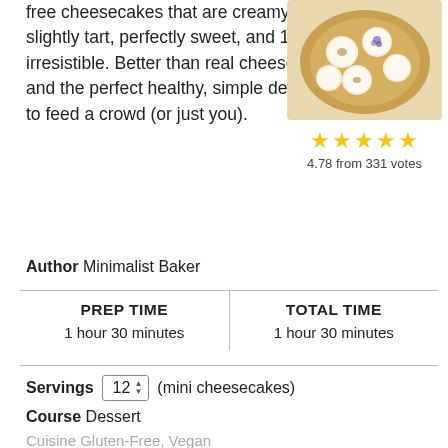free cheesecakes that are creamy, slightly tart, perfectly sweet, and 100% irresistible. Better than real cheesecake and the perfect healthy, simple dessert to feed a crowd (or just you).
[Figure (photo): Mini cheesecakes displayed on a round wooden board, viewed from above]
4.78 from 331 votes
Author  Minimalist Baker
| PREP TIME | TOTAL TIME |
| --- | --- |
| 1 hour 30 minutes | 1 hour 30 minutes |
Servings  12  (mini cheesecakes)
Course  Dessert
Cuisine  Gluten-Free, Vegan
Freezer Friendly  1-2 Weeks